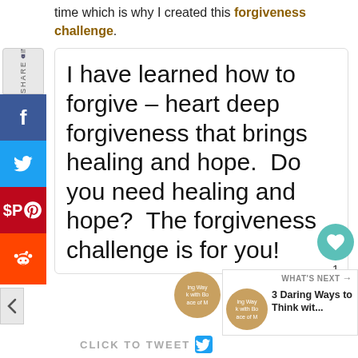time which is why I created this forgiveness challenge.
I have learned how to forgive – heart deep forgiveness that brings healing and hope.  Do you need healing and hope?  The forgiveness challenge is for you!
WHAT'S NEXT → 3 Daring Ways to Think wit...
CLICK TO TWEET